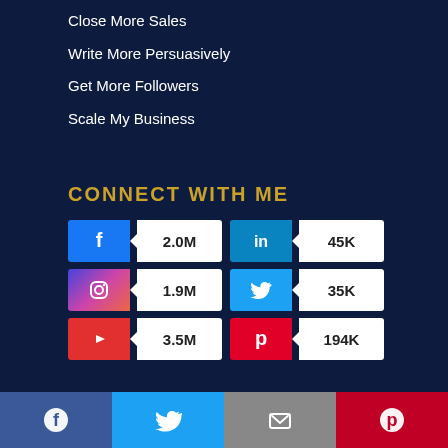Close More Sales
Write More Persuasively
Get More Followers
Scale My Business
CONNECT WITH ME
[Figure (infographic): Social media follower counts: Facebook 2.0M, LinkedIn 45K, Instagram 1.9M, Twitter 35K, YouTube 3.5M, Pinterest 194K]
© DAN LOK . ALL RIGHTS RESERVED | TERMS & CONDITIONS
[Figure (infographic): Bottom share bar with Facebook, Twitter, Email, Pinterest buttons]